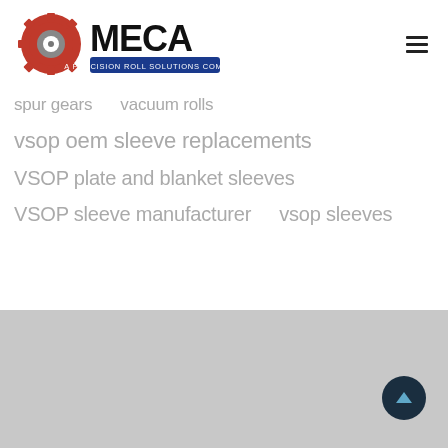[Figure (logo): MECA logo - gear icon with red and gray colors, 'MECA' text in bold black, 'A PRECISION ROLL SOLUTIONS COMPANY' on blue banner below]
spur gears    vacuum rolls
vsop oem sleeve replacements
VSOP plate and blanket sleeves
VSOP sleeve manufacturer    vsop sleeves